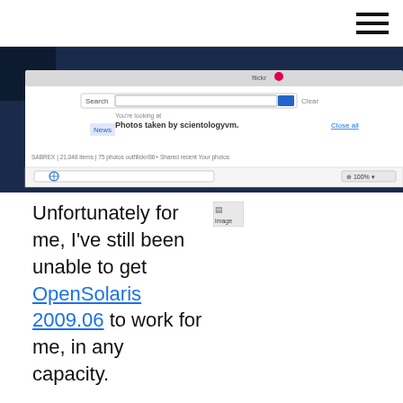[Figure (screenshot): Browser screenshot showing Flickr search results page with 'Photos taken by scientologyvm' query displayed]
Unfortunately for me, I've still been unable to get OpenSolaris 2009.06 to work for me, in any capacity.

It's a shame, because I'm a total Sun fan, and would love to be able to start rolling with it – just I keep running into dorky issues that I would have figured would